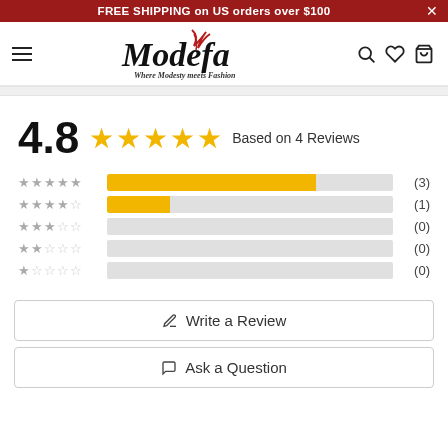FREE SHIPPING on US orders over $100
[Figure (logo): Modefa logo - Where Modesty meets Fashion, cursive black text with red feather accent]
4.8 ★★★★★ Based on 4 Reviews
[Figure (bar-chart): Rating breakdown]
✏ Write a Review
💬 Ask a Question